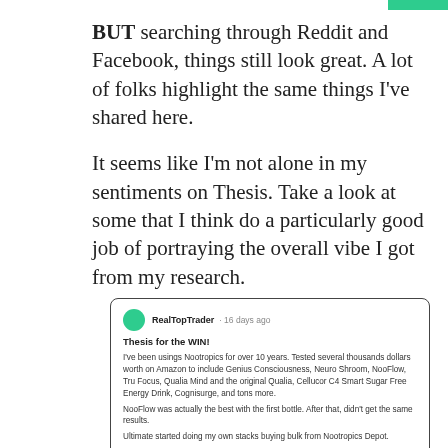BUT searching through Reddit and Facebook, things still look great. A lot of folks highlight the same things I've shared here.
It seems like I'm not alone in my sentiments on Thesis. Take a look at some that I think do a particularly good job of portraying the overall vibe I got from my research.
[Figure (screenshot): Reddit/forum comment from user RealTopTrader (16 days ago) with avatar, titled 'Thesis for the WIN!' describing experience with nootropics over 10 years and endorsing Thesis pre-formulated nootropics.]